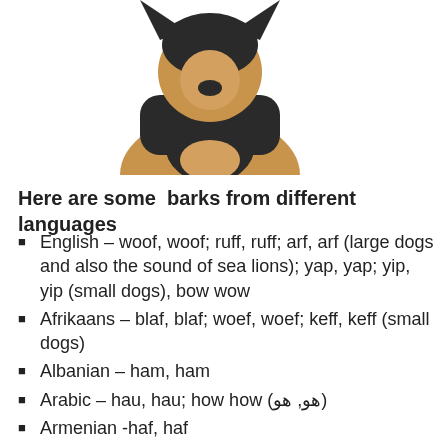[Figure (photo): Partial photo of a dog (likely a German Shepherd or similar breed) shown from the chest/neck up on a white background. The dog has black and tan coloring.]
Here are some  barks from different languages
English – woof, woof; ruff, ruff; arf, arf (large dogs and also the sound of sea lions); yap, yap; yip, yip (small dogs), bow wow
Afrikaans – blaf, blaf; woef, woef; keff, keff (small dogs)
Albanian – ham, ham
Arabic – hau, hau; how how (هو, هو)
Armenian -haf, haf
Basque – au, au; txau, txau (small dogs); zaunk, zaunk (large dogs); jau, jau (old dogs)